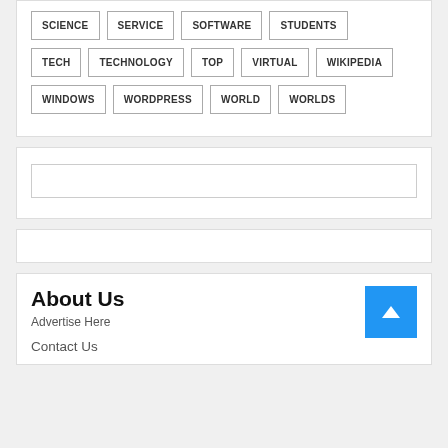SCIENCE
SERVICE
SOFTWARE
STUDENTS
TECH
TECHNOLOGY
TOP
VIRTUAL
WIKIPEDIA
WINDOWS
WORDPRESS
WORLD
WORLDS
About Us
Advertise Here
Contact Us